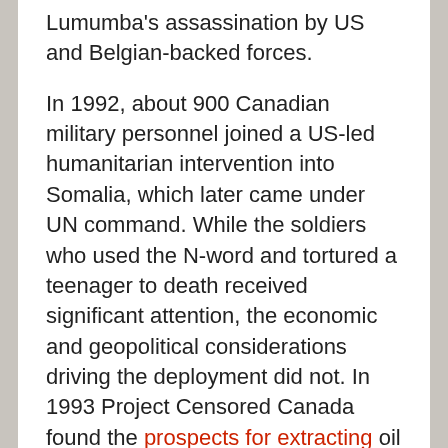Lumumba's assassination by US and Belgian-backed forces.
In 1992, about 900 Canadian military personnel joined a US-led humanitarian intervention into Somalia, which later came under UN command. While the soldiers who used the N-word and tortured a teenager to death received significant attention, the economic and geopolitical considerations driving the deployment did not. In 1993 Project Censored Canada found the prospects for extracting oil – Chevron, Amoco, Phillips, and Conoco had exploration rights to two-thirds of Somalia – the most under-reported Canadian news item that year. Alongside securing hydrocarbons from the ground, planners had an eye to the oil passing near Somalia's 1,000-mile coastline. Whoever controls this territory is well